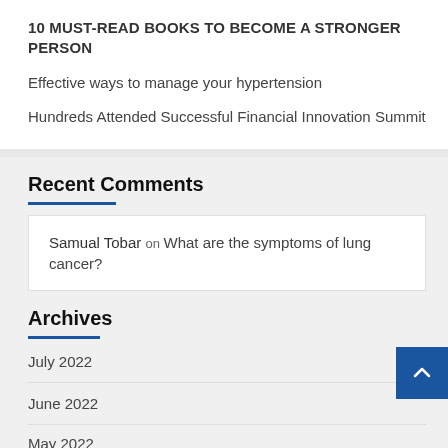10 MUST-READ BOOKS TO BECOME A STRONGER PERSON
Effective ways to manage your hypertension
Hundreds Attended Successful Financial Innovation Summit
Recent Comments
Samual Tobar on What are the symptoms of lung cancer?
Archives
July 2022
June 2022
May 2022